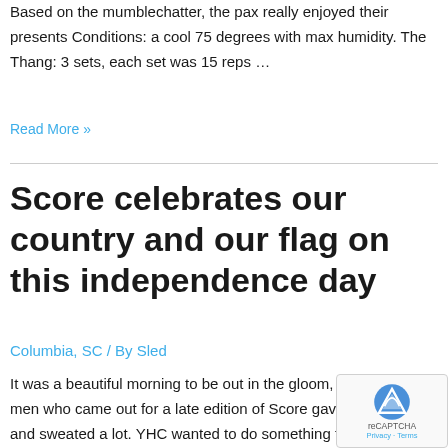Based on the mumblechatter, the pax really enjoyed their presents Conditions: a cool 75 degrees with max humidity. The Thang: 3 sets, each set was 15 reps …
Read More »
Score celebrates our country and our flag on this independence day
Columbia, SC / By Sled
It was a beautiful morning to be out in the gloom, and the five men who came out for a late edition of Score gave great effort, and sweated a lot. YHC wanted to do something that would honor our country and our flag, and had a theme t…